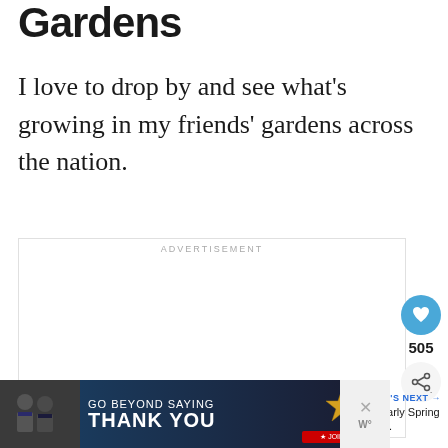Gardens
I love to drop by and see what's growing in my friends' gardens across the nation.
[Figure (other): Advertisement banner for Alzheimer's awareness: teal background with text 'It's time to talk about Alzheimer's.' with a LEARN MORE button, alz.org/ourstories URL, and illustration of two elderly people]
[Figure (other): Advertisement for Operation Gratitude: 'GO BEYOND SAYING THANK YOU' with Join Us button, dark background with photo of people]